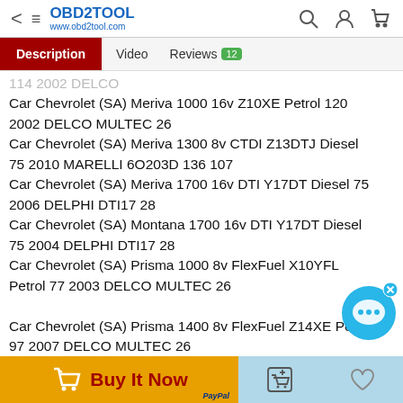OBD2TOOL www.obd2tool.com
Description | Video | Reviews 12
Car Chevrolet (SA) Meriva  1000 16v Z10XE Petrol 120 2002 DELCO MULTEC 26
Car Chevrolet (SA) Meriva  1300  8v CTDI Z13DTJ Diesel 75 2010 MARELLI 6O203D 136  107
Car Chevrolet (SA) Meriva  1700 16v DTI Y17DT Diesel 75 2006 DELPHI DTI17 28
Car Chevrolet (SA) Montana  1700 16v DTI Y17DT Diesel 75 2004 DELPHI DTI17 28
Car Chevrolet (SA) Prisma  1000  8v FlexFuel X10YFL Petrol 77 2003 DELCO MULTEC 26
Car Chevrolet (SA) Prisma  1400  8v FlexFuel Z14XE Petrol 97 2007 DELCO MULTEC 26
Car Chevrolet (SA) Tornado  1700  8v TD X17DTL Diesel 2004 BOSCH EDC15M 25
Car Chevrolet (SA) Vectra (B) 1600 16v Y16XE Petrol 1998 DELCO MULTEC 26
Car Chevrolet (SA) Vectra (B) 1600 16v Z16XE Petrol 100 1998 DELCO MULTEC 26